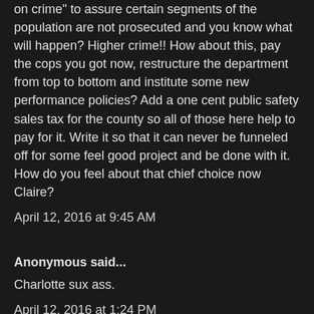on crime" to assure certain segments of the population are not prosecuted and you know what will happen? Higher crime!! How about this, pay the cops you got now, restructure the department from top to bottom and institute some new performance policies? Add a one cent public safety sales tax for the county so all of those here help to pay for it. Write it so that it can never be funneled off for some feel good project and be done with it. How do you feel about that chief choice now Claire?
April 12, 2016 at 9:45 AM
Anonymous said...
Charlotte sux ass.
April 12, 2016 at 1:24 PM
Anonymous said...
Sounds like the promotional processes in the whole city depend on who and not what. Hopefully council